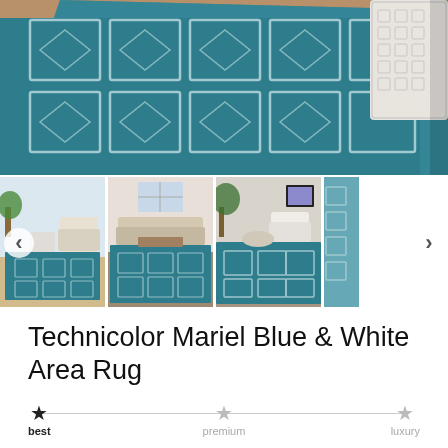[Figure (photo): Main product photo showing a blue and white geometric patterned area rug on a hardwood floor with a decorative white side table]
[Figure (photo): Thumbnail gallery showing three full and one partial room scene photos of the Technicolor Mariel Blue & White Area Rug in various living room settings]
Technicolor Mariel Blue & White Area Rug
best  premium  luxury (quality tier rating scale)